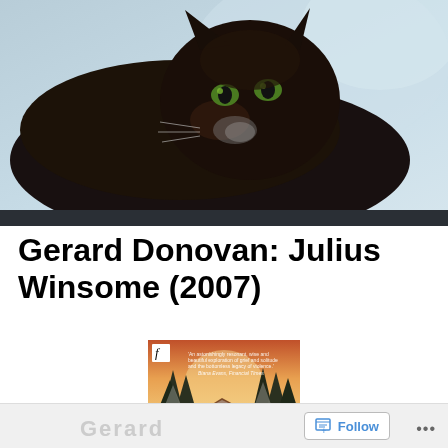[Figure (photo): A black cat with green eyes lying on light blue fabric/bedding, looking at the camera]
Gerard Donovan: Julius Winsome (2007)
[Figure (photo): Book cover of Julius Winsome by Gerard Donovan showing a snowy winter scene with pine trees and a small cabin, with a quote from Biana Evans, Financial Times: 'An astonishingly resonant, wise and beautiful exploration of grief and solitude and the bottomless legacy of violence.' Publisher logo 'f' (Faber) in top left corner.]
Gerard  Follow ...